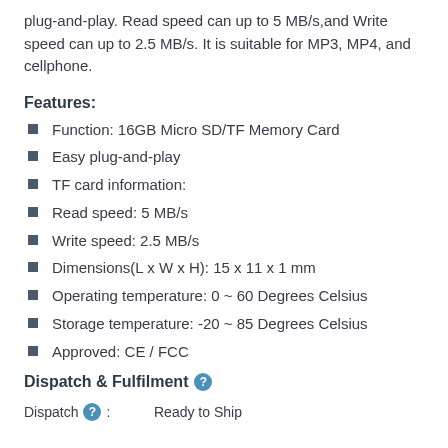plug-and-play. Read speed can up to 5 MB/s,and Write speed can up to 2.5 MB/s. It is suitable for MP3, MP4, and cellphone.
Features:
Function: 16GB Micro SD/TF Memory Card
Easy plug-and-play
TF card information:
Read speed: 5 MB/s
Write speed: 2.5 MB/s
Dimensions(L x W x H): 15 x 11 x 1 mm
Operating temperature: 0 ~ 60 Degrees Celsius
Storage temperature: -20 ~ 85 Degrees Celsius
Approved: CE / FCC
Dispatch & Fulfilment
Dispatch: Ready to Ship